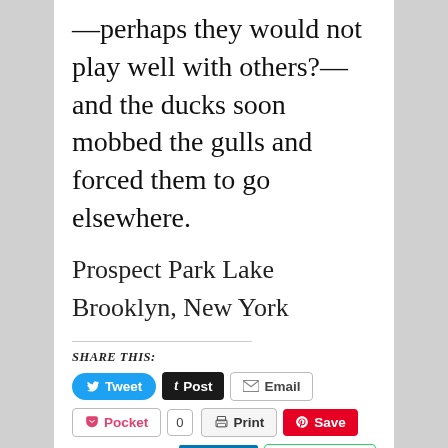—perhaps they would not play well with others?—and the ducks soon mobbed the gulls and forced them to go elsewhere.
Prospect Park Lake
Brooklyn, New York
SHARE THIS:
[Figure (other): Social share buttons: Tweet, Post, Email, Pocket (0), Print, Save, Share, WhatsApp]